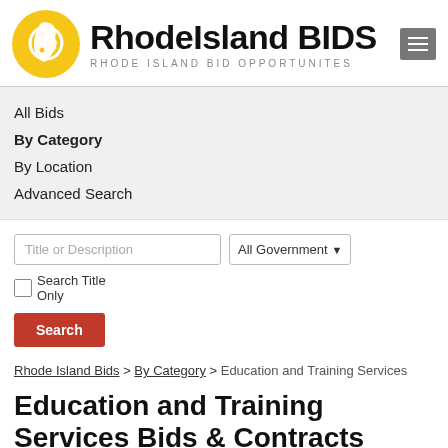[Figure (logo): Rhode Island BIDS logo — yellow circle with white Rhode Island state outline, next to bold text 'RhodeIsland BIDS' and subtitle 'RHODE ISLAND BID OPPORTUNITES']
All Bids
By Category
By Location
Advanced Search
Title or Description | All Government ▾ ☐ Search Title Only
Search
Rhode Island Bids > By Category > Education and Training Services
Education and Training Services Bids & Contracts